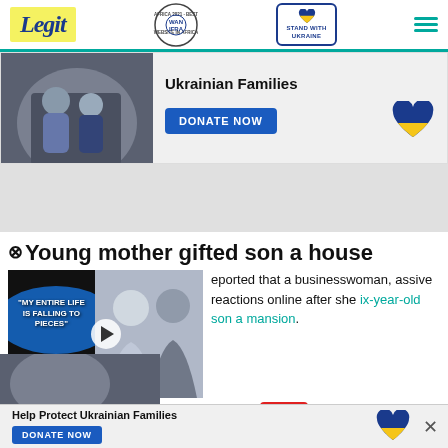Legit | WAN-IFRA 2021 Best News Website in Africa | Stand with Ukraine
[Figure (screenshot): Banner advertisement: Help Protect Ukrainian Families with DONATE NOW button and Ukraine heart icon]
[Figure (photo): Gray spacer / ad area]
Young mother gifted son a house
[Figure (screenshot): Embedded video widget with text MY ENTIRE LIFE IS FALLING TO PIECES, play button, and person image overlay]
eported that a businesswoman, assive reactions online after she ix-year-old son a mansion.
evealed that the boy has
[Figure (photo): Bottom sticky banner: Help Protect Ukrainian Families, DONATE NOW button, Ukraine heart, close X]